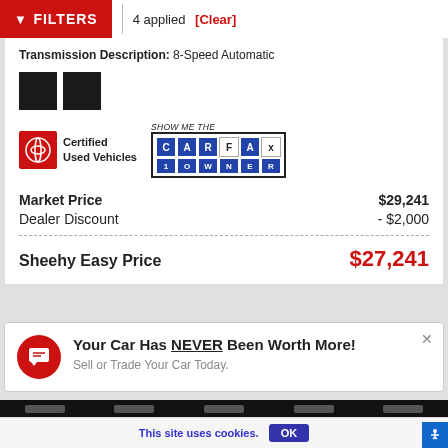FILTERS  4 applied [Clear]
Transmission Description: 8-Speed Automatic
[Figure (logo): Toyota Certified Used Vehicles logo and CARFAX Show Me The 1 Owner badge]
| Market Price | $29,241 |
| Dealer Discount | - $2,000 |
| Sheehy Easy Price | $27,241 |
Your Car Has NEVER Been Worth More!
Sell or Trade Your Car Today.
This site uses cookies.